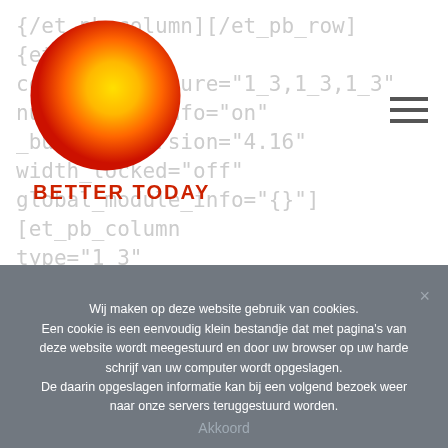[Figure (logo): Round sun/gradient logo circle with yellow to orange-red gradient]
{/et_pb_column][/et_pb_row][et_pb_row column_structure="1_3,1_3,1_3" _builder_version="4.16" width_locked="off" global_module_info="{}"][et_pb_column type="1_3" _builder_version="4.16" background_color="#ffffff"
BETTER TODAY
[Figure (other): Hamburger menu icon (three horizontal lines)]
Wij maken op deze website gebruik van cookies.
Een cookie is een eenvoudig klein bestandje dat met pagina's van deze website wordt meegestuurd en door uw browser op uw harde schrijf van uw computer wordt opgeslagen.
De daarin opgeslagen informatie kan bij een volgend bezoek weer naar onze servers teruggestuurd worden.
Akkoord